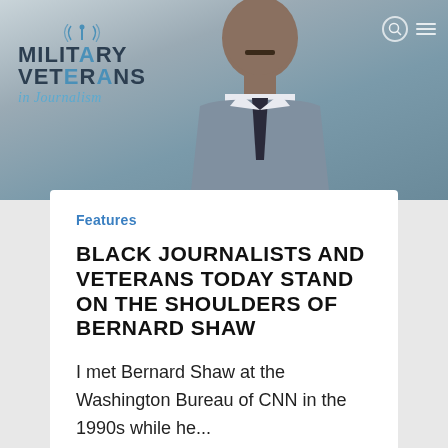[Figure (photo): Website screenshot showing Military Veterans in Journalism logo on left with a Black man in a suit and tie visible in the background header image. Search and menu icons in top right.]
Features
BLACK JOURNALISTS AND VETERANS TODAY STAND ON THE SHOULDERS OF BERNARD SHAW
I met Bernard Shaw at the Washington Bureau of CNN in the 1990s while he...
Riccoh Player
February 26, 2022